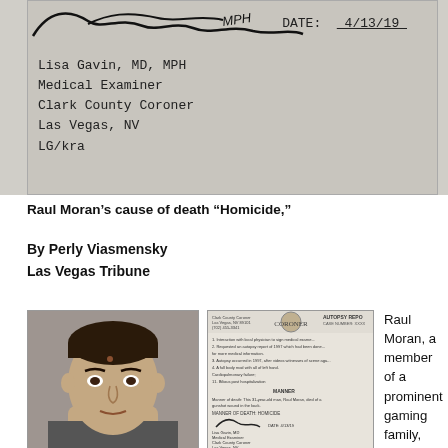[Figure (photo): Scanned coroner/medical examiner document showing signature, date 4/13/19, typed credentials: Lisa Gavin, MD, MPH, Medical Examiner, Clark County Coroner, Las Vegas, NV, LG/kra]
Raul Moran’s cause of death “Homicide,”
By Perly Viasmensky
Las Vegas Tribune
[Figure (photo): Mugshot portrait photo of Raul Moran, a Hispanic male with short dark hair]
[Figure (photo): Scanned autopsy report document from Clark County Coroner showing cause of death: Homicide, signed and dated 4/13/19]
Raul Moran, a member of a prominent gaming family, was shot in the back while unarmed